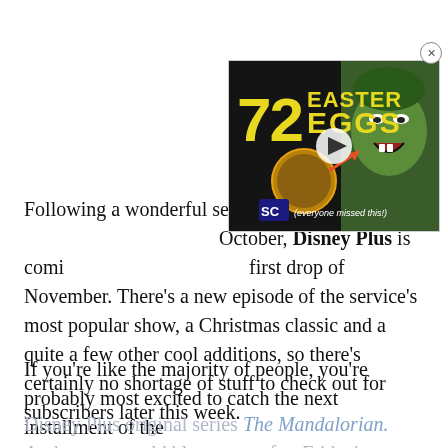[Figure (screenshot): Video thumbnail showing '72 Easter Eggs' text in yellow on dark background with She-Hulk green character on right side and a play button overlay. SC logo visible. Text reads 'everyone missed this!']
Following a wonderful selection in October, Disney Plus is coming with its first drop of November. There's a new episode of the service's most popular show, a Christmas classic and a quite a few other cool additions, so there's certainly no shortage of stuff to check out for subscribers later this week.
If you're like the majority of people, you're probably most excited to catch the next installment of the Disney Plus original series The Mandalorian. And no one could blame you after Friday's season premiere,